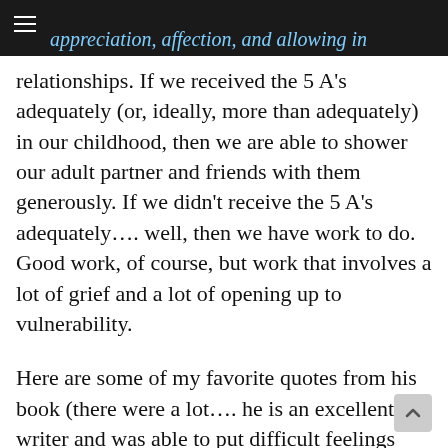appreciation, affection, and allowing in
relationships. If we received the 5 A’s adequately (or, ideally, more than adequately) in our childhood, then we are able to shower our adult partner and friends with them generously. If we didn’t receive the 5 A’s adequately…. well, then we have work to do. Good work, of course, but work that involves a lot of grief and a lot of opening up to vulnerability.
Here are some of my favorite quotes from his book (there were a lot…. he is an excellent writer and was able to put difficult feelings and experiences very precisely and gracefully